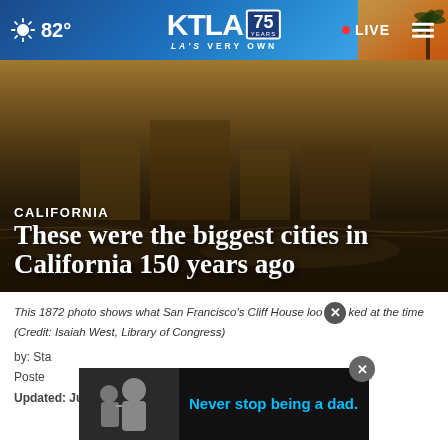KTLA 75 YEARS — LA'S VERY OWN | 82° | LIVE
[Figure (screenshot): KTLA news website header screenshot showing navigation bar with weather (82°), KTLA 75 Years logo, LA'S VERY OWN tagline, LIVE button, and palm tree background]
[Figure (photo): Sepia-toned historical photo showing what San Francisco's Cliff House looked like in 1872]
CALIFORNIA
These were the biggest cities in California 150 years ago
This 1872 photo shows what San Francisco's Cliff House looked like at the time (Credit: Isaiah West, Library of Congress)
by: Staff
Posted:
Updated: Jun 7, 2022 / 09:41 AM PDT
[Figure (screenshot): Advertisement overlay showing 'Never stop being a dad.' with image of father and child, with close (X) button]